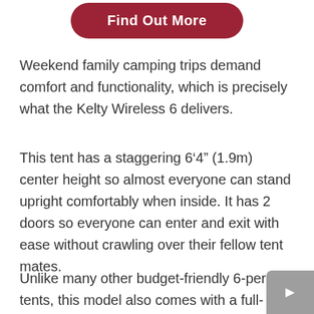[Figure (other): Dark red rounded button labeled 'Find Out More']
Weekend family camping trips demand comfort and functionality, which is precisely what the Kelty Wireless 6 delivers.
This tent has a staggering 6‘4” (1.9m) center height so almost everyone can stand upright comfortably when inside. It has 2 doors so everyone can enter and exit with ease without crawling over their fellow tent mates.
Unlike many other budget-friendly 6-person tents, this model also comes with a full-coverage rainfly